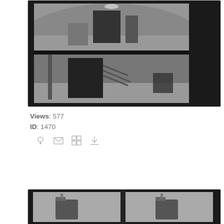[Figure (photo): Black and white photograph contact sheet showing two interior views of a room with equipment, dark borders around each frame]
Views: 577
ID: 1470
[Figure (infographic): Row of four small icons: lightbulb, envelope, grid, download arrow]
[Figure (photo): Black and white photograph contact sheet showing two side-by-side images of what appear to be mechanical objects or equipment]